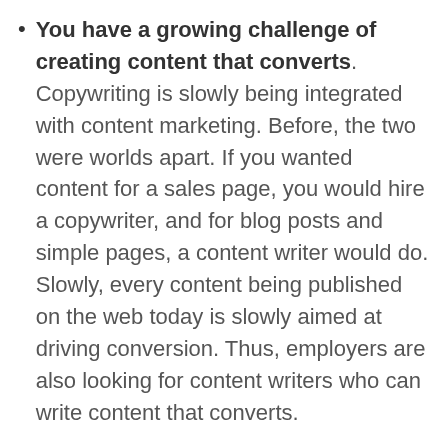You have a growing challenge of creating content that converts. Copywriting is slowly being integrated with content marketing. Before, the two were worlds apart. If you wanted content for a sales page, you would hire a copywriter, and for blog posts and simple pages, a content writer would do. Slowly, every content being published on the web today is slowly aimed at driving conversion. Thus, employers are also looking for content writers who can write content that converts.